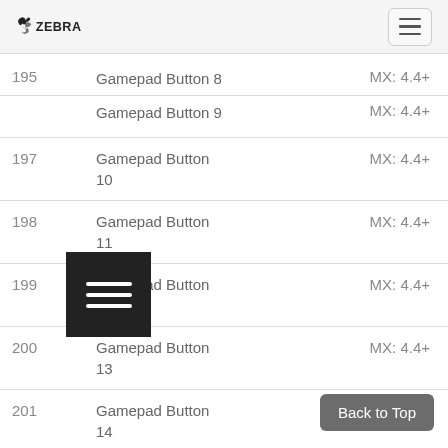Zebra Technologies - Navigation header
| # | Name | MX |
| --- | --- | --- |
| 195 | Gamepad Button 8 | MX: 4.4+ |
|  | Gamepad Button 9 | MX: 4.4+ |
| 197 | Gamepad Button 10 | MX: 4.4+ |
| 198 | Gamepad Button 11 | MX: 4.4+ |
| 199 | Gamepad Button 12 | MX: 4.4+ |
| 200 | Gamepad Button 13 | MX: 4.4+ |
| 201 | Gamepad Button 14 | MX: 4.4+ |